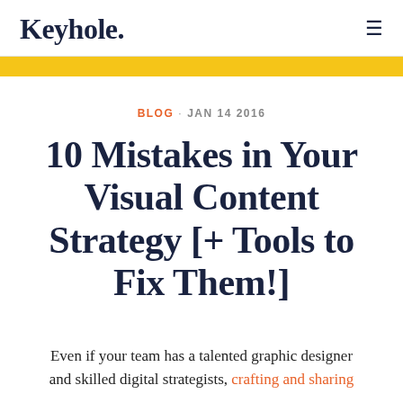Keyhole
BLOG · JAN 14 2016
10 Mistakes in Your Visual Content Strategy [+ Tools to Fix Them!]
Even if your team has a talented graphic designer and skilled digital strategists, crafting and sharing